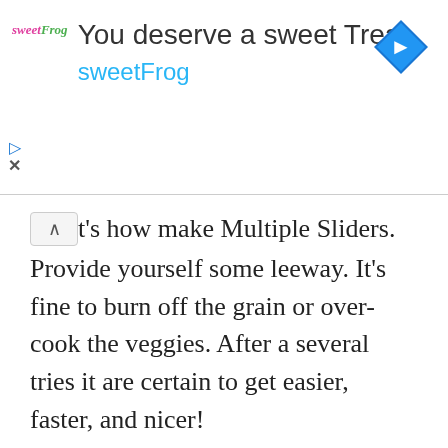[Figure (screenshot): Advertisement banner for sweetFrog. Shows sweetFrog logo on left, headline 'You deserve a sweet Treat' in large text, 'sweetFrog' in cyan below, and a blue diamond navigation icon on the right. Navigation play and close buttons on the far left.]
t's how make Multiple Sliders. Provide yourself some leeway. It's fine to burn off the grain or over-cook the veggies. After a several tries it are certain to get easier, faster, and nicer!